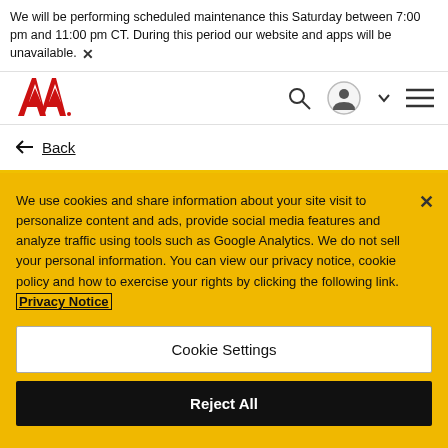We will be performing scheduled maintenance this Saturday between 7:00 pm and 11:00 pm CT. During this period our website and apps will be unavailable. ×
[Figure (logo): AA logo in red, stylized double-A letters]
← Back
We use cookies and share information about your site visit to personalize content and ads, provide social media features and analyze traffic using tools such as Google Analytics. We do not sell your personal information. You can view our privacy notice, cookie policy and how to exercise your rights by clicking the following link. Privacy Notice
Cookie Settings
Reject All